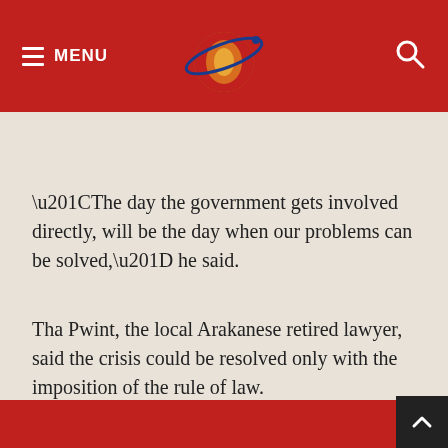MENU [logo] [search]
“The day the government gets involved directly, will be the day when our problems can be solved,” he said.
Tha Pwint, the local Arakanese retired lawyer, said the crisis could be resolved only with the imposition of the rule of law.